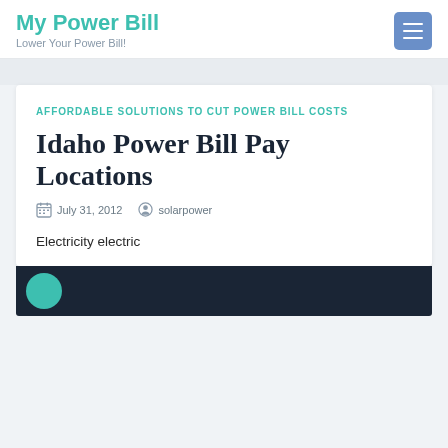My Power Bill — Lower Your Power Bill!
AFFORDABLE SOLUTIONS TO CUT POWER BILL COSTS
Idaho Power Bill Pay Locations
July 31, 2012  solarpower
Electricity electric
[Figure (photo): Dark background image strip at the bottom of the article card with a teal circle partially visible on the left side.]